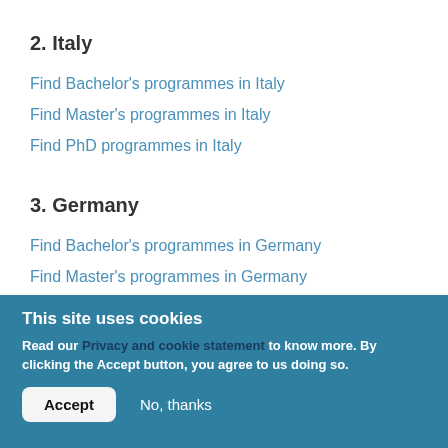2. Italy
Find Bachelor’s programmes in Italy
Find Master's programmes in Italy
Find PhD programmes in Italy
3. Germany
Find Bachelor’s programmes in Germany
Find Master's programmes in Germany
Find PhD programmes in Germany
This site uses cookies
Read our Privacy and cookie statement to know more. By clicking the Accept button, you agree to us doing so.
Accept
No, thanks